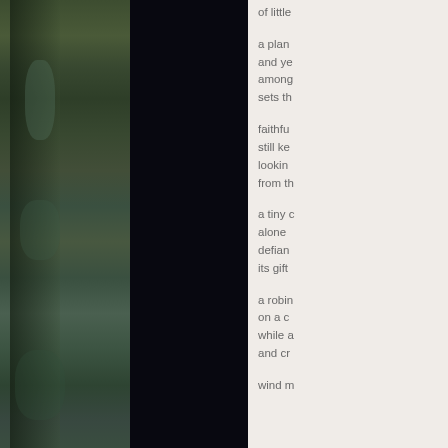[Figure (photo): Left side: blurred close-up of green and blue-tinted plant or tree bark in a narrow vertical strip. Center: large dark/black area, nearly entirely black background.]
of little

a plan
and ye
among
sets th

faithfu
still ke
lookin
from th

a tiny c
alone
defian
its gift

a robin
on a c
while a
and cr

wind m